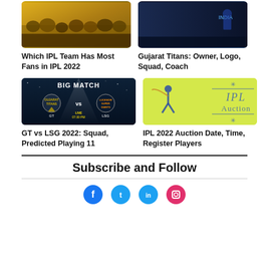[Figure (photo): IPL fans crowd image (top left)]
[Figure (photo): Gujarat Titans team image with India branding (top right)]
Which IPL Team Has Most Fans in IPL 2022
Gujarat Titans: Owner, Logo, Squad, Coach
[Figure (photo): Big Match GT vs LSG live match graphic at 07:30 PM]
[Figure (illustration): IPL Auction graphic on yellow-green background with cricket player silhouette]
GT vs LSG 2022: Squad, Predicted Playing 11
IPL 2022 Auction Date, Time, Register Players
Subscribe and Follow